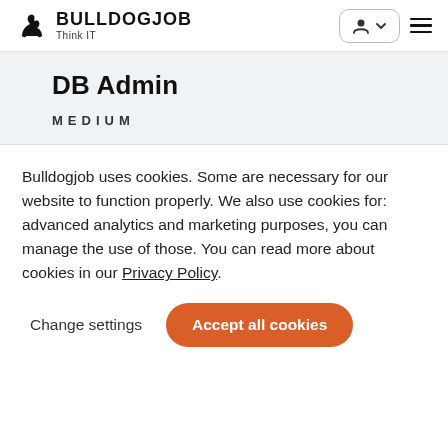BULLDOGJOB Think IT
DB Admin
MEDIUM
Bulldogjob uses cookies. Some are necessary for our website to function properly. We also use cookies for: advanced analytics and marketing purposes, you can manage the use of those. You can read more about cookies in our Privacy Policy.
Change settings | Accept all cookies